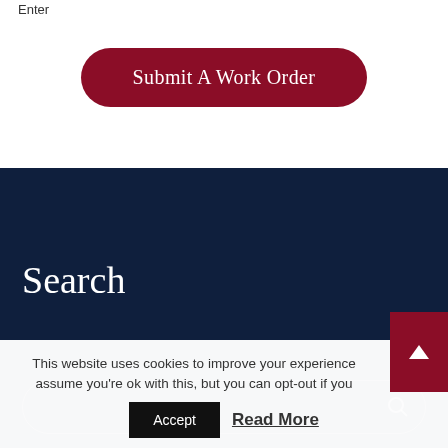Enter
Submit A Work Order
Search
This website uses cookies to improve your experience assume you're ok with this, but you can opt-out if you
Accept
Read More